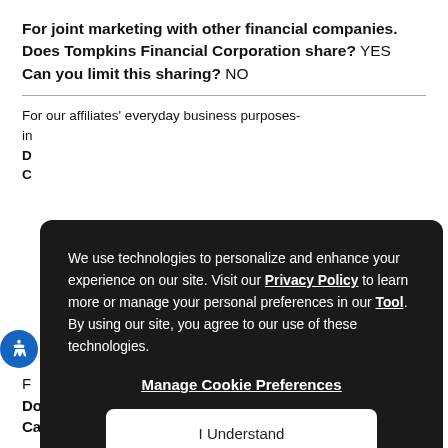For joint marketing with other financial companies. Does Tompkins Financial Corporation share? YES Can you limit this sharing? NO
For our affiliates' everyday business purposes- information about your creditworthiness Does Tompkins Financial Corporation share? Can you limit this sharing?
[Figure (screenshot): Cookie consent overlay on dark background. Text: We use technologies to personalize and enhance your experience on our site. Visit our Privacy Policy to learn more or manage your personal preferences in our Tool. By using our site, you agree to our use of these technologies. Buttons: Manage Cookie Preferences, I Understand.]
Does Tompkins Financial Corporation share? YES Can you limit this sharing? YES